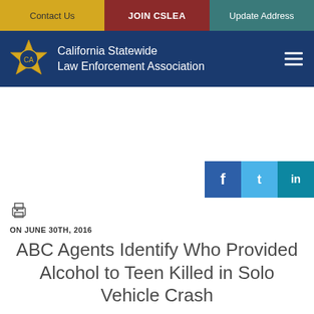Contact Us | JOIN CSLEA | Update Address
[Figure (logo): California Statewide Law Enforcement Association header with gold star badge logo on blue background]
[Figure (infographic): Social media share buttons: Facebook, Twitter, LinkedIn]
[Figure (infographic): Print icon]
ON JUNE 30TH, 2016
ABC Agents Identify Who Provided Alcohol to Teen Killed in Solo Vehicle Crash